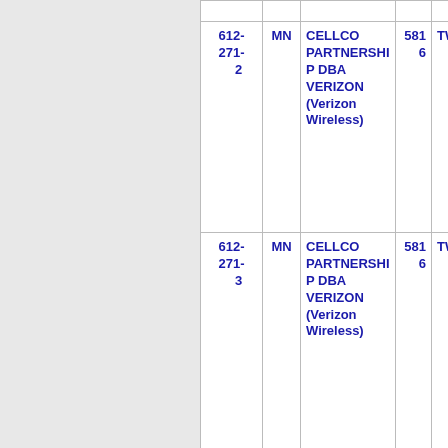| Phone | State | Carrier | ZIP | City |
| --- | --- | --- | --- | --- |
| 612-271-2 | MN | CELLCO PARTNERSHIP DBA VERIZON (Verizon Wireless) | 5816 | TWINC... |
| 612-271-3 | MN | CELLCO PARTNERSHIP DBA VERIZON (Verizon Wireless) | 5816 | TWINC... |